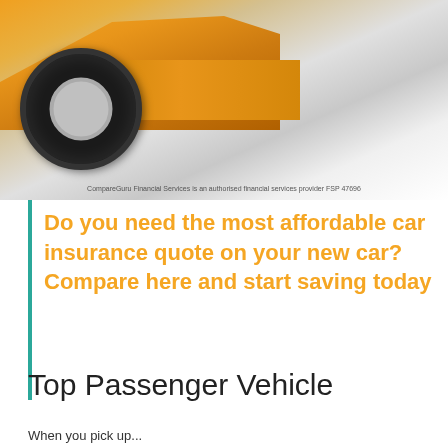[Figure (photo): Orange car front wheel and body with gradient background, CompareGuru Financial Services watermark text]
CompareGuru Financial Services is an authorised financial services provider FSP 47696
Do you need the most affordable car insurance quote on your new car? Compare here and start saving today
Top Passenger Vehicle
When you pick up...